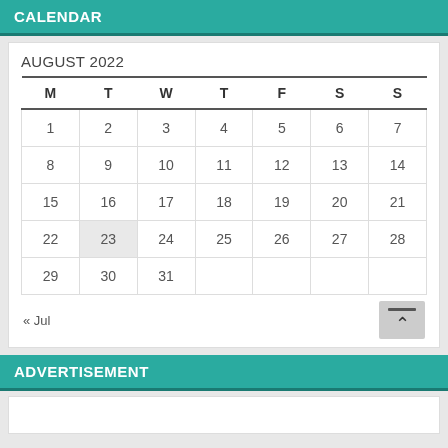CALENDAR
| M | T | W | T | F | S | S |
| --- | --- | --- | --- | --- | --- | --- |
| 1 | 2 | 3 | 4 | 5 | 6 | 7 |
| 8 | 9 | 10 | 11 | 12 | 13 | 14 |
| 15 | 16 | 17 | 18 | 19 | 20 | 21 |
| 22 | 23 | 24 | 25 | 26 | 27 | 28 |
| 29 | 30 | 31 |  |  |  |  |
AUGUST 2022
« Jul
ADVERTISEMENT